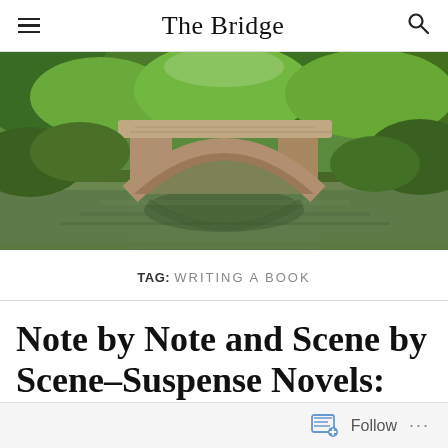The Bridge
[Figure (photo): A stone arch bridge over a calm reflective river, surrounded by dense green trees and foliage in summer.]
TAG: WRITING A BOOK
Note by Note and Scene by Scene–Suspense Novels: Part